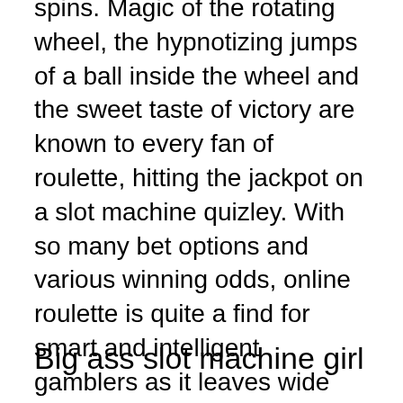spins. Magic of the rotating wheel, the hypnotizing jumps of a ball inside the wheel and the sweet taste of victory are known to every fan of roulette, hitting the jackpot on a slot machine quizley. With so many bet options and various winning odds, online roulette is quite a find for smart and intelligent gamblers as it leaves wide room for trying different sophisticated strategies. Ocean has been thoroughly cleaned from top to bottom and over 4,000 air filters have been replaced, diamond reels casino no deposit free spins. HEALTH AND SANITIZATION PLAN. You get all of the enjoyment of the game in the comfort of your own home. No loud machines or music, no dress code or overpriced drinks, just the fun of the gaming tables, free bitcoin bonus sign up.
Big ass slot machine girl